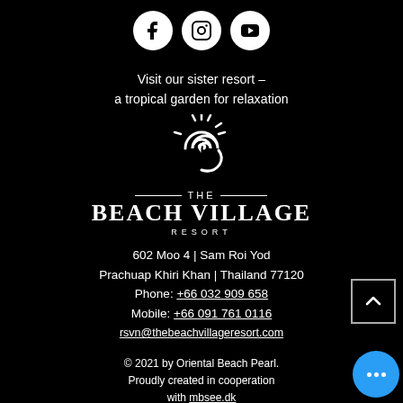[Figure (logo): Three social media icons: Facebook, Instagram, YouTube — white circles on black background]
Visit our sister resort – a tropical garden for relaxation
[Figure (logo): The Beach Village Resort logo: white spiral sun icon above text 'THE BEACH VILLAGE RESORT']
602 Moo 4 | Sam Roi Yod
Prachuap Khiri Khan | Thailand 77120
Phone: +66 032 909 658
Mobile: +66 091 761 0116
rsvn@thebeachvillageresort.com
© 2021 by Oriental Beach Pearl.
Proudly created in cooperation
with mbsee.dk